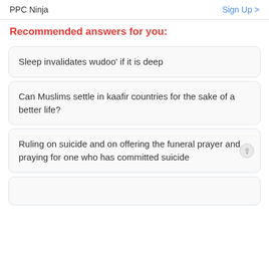PPC Ninja | Sign Up >
Recommended answers for you:
Sleep invalidates wudoo' if it is deep
Can Muslims settle in kaafir countries for the sake of a better life?
Ruling on suicide and on offering the funeral prayer and praying for one who has committed suicide